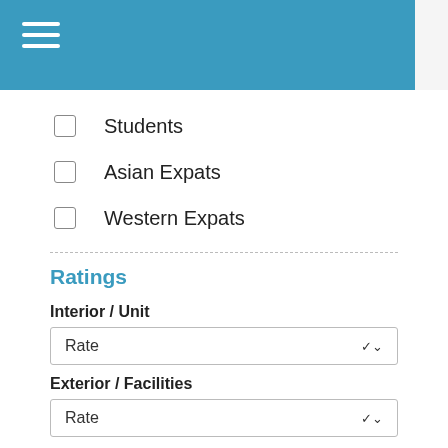Students
Asian Expats
Western Expats
Ratings
Interior / Unit
Rate
Exterior / Facilities
Rate
Accessibility / Transport
Rate
Nearby Amenities
Rate
Value for Money
Rate